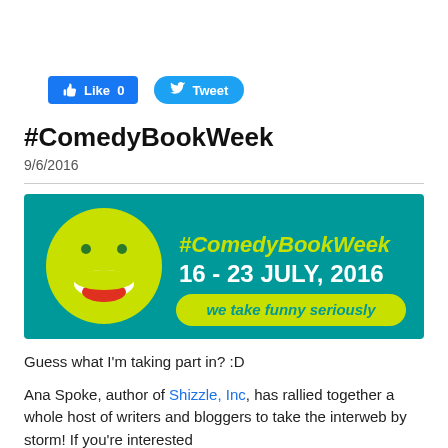[Figure (screenshot): Facebook Like button showing 'Like 0' and Twitter Tweet button]
#ComedyBookWeek
9/6/2016
[Figure (illustration): Banner for #ComedyBookWeek 16 - 23 JULY, 2016 with a laughing smiley face on teal background and tagline 'we take funny seriously']
Guess what I'm taking part in? :D
Ana Spoke, author of Shizzle, Inc, has rallied together a whole host of writers and bloggers to take the interweb by storm! If you're interested